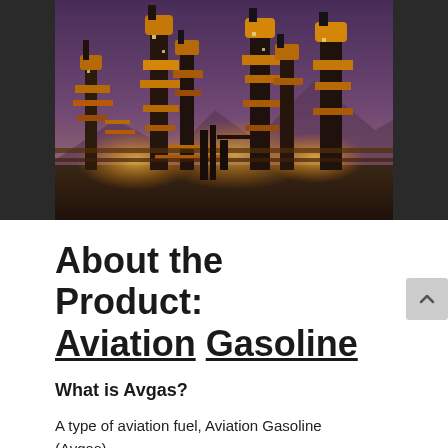[Figure (photo): Night-time photo of an industrial oil refinery with tall illuminated columns and structures, purple-tinted sky, mountains in background.]
About the Product: Aviation Gasoline
What is Avgas?
A type of aviation fuel, Aviation Gasoline (Avgas),